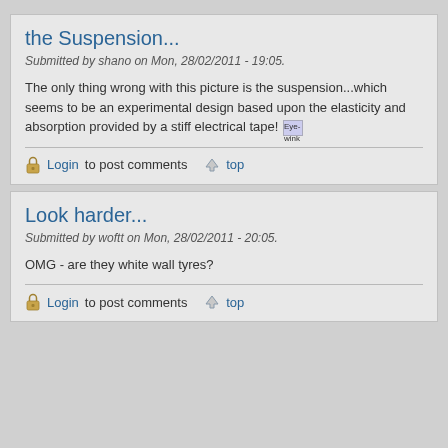the Suspension...
Submitted by shano on Mon, 28/02/2011 - 19:05.
The only thing wrong with this picture is the suspension...which seems to be an experimental design based upon the elasticity and absorption provided by a stiff electrical tape! [Eye-wink]
Login to post comments   top
Look harder...
Submitted by woftt on Mon, 28/02/2011 - 20:05.
OMG - are they white wall tyres?
Login to post comments   top